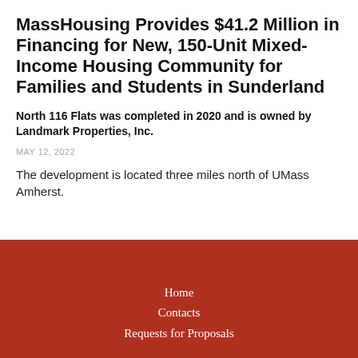MassHousing Provides $41.2 Million in Financing for New, 150-Unit Mixed-Income Housing Community for Families and Students in Sunderland
North 116 Flats was completed in 2020 and is owned by Landmark Properties, Inc.
MAY 12, 2022
The development is located three miles north of UMass Amherst.
Home
Contacts
Requests for Proposals